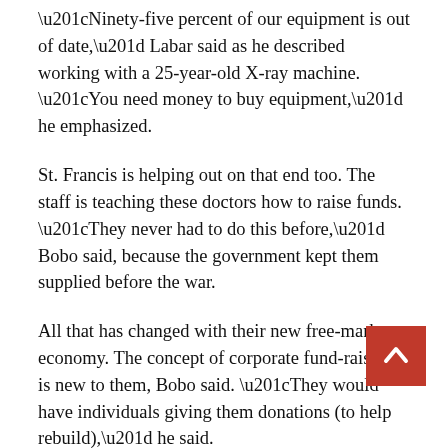“Ninety-five percent of our equipment is out of date,” Labar said as he described working with a 25-year-old X-ray machine. “You need money to buy equipment,” he emphasized.
St. Francis is helping out on that end too. The staff is teaching these doctors how to raise funds. “They never had to do this before,” Bobo said, because the government kept them supplied before the war.
All that has changed with their new free-market economy. The concept of corporate fund-raising is new to them, Bobo said. “They would have individuals giving them donations (to help rebuild),” he said.
Private donations, however, don’t stretch far enough, so these doctors are being given a crash course on courting corporate money. They don’t want a handout. They want to learn to do things for themselves.
“This is a country that needs a one-time boost for a couple of years to get back on their feet,” Munley said. Once the